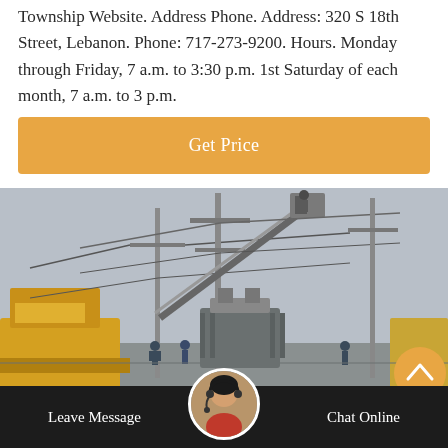Township Website. Address Phone. Address: 320 S 18th Street, Lebanon. Phone: 717-273-9200. Hours. Monday through Friday, 7 a.m. to 3:30 p.m. 1st Saturday of each month, 7 a.m. to 3 p.m.
Get Price
[Figure (photo): Workers on a crane/lift at an electrical substation with power lines, transformers, and utility vehicles including a yellow truck visible in the foreground.]
Leave Message
Chat Online